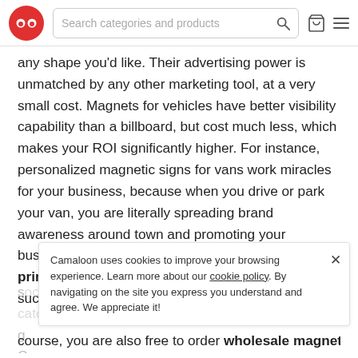Search categories and products
any shape you'd like. Their advertising power is unmatched by any other marketing tool, at a very small cost. Magnets for vehicles have better visibility capability than a billboard, but cost much less, which makes your ROI significantly higher. For instance, personalized magnetic signs for vans work miracles for your business, because when you drive or park your van, you are literally spreading brand awareness around town and promoting your business. Personalized car magnetic signs, printed with your company's contact information such as a website address,
course, you are also free to order wholesale magnets for
Camaloon uses cookies to improve your browsing experience. Learn more about our cookie policy. By navigating on the site you express you understand and agree. We appreciate it!